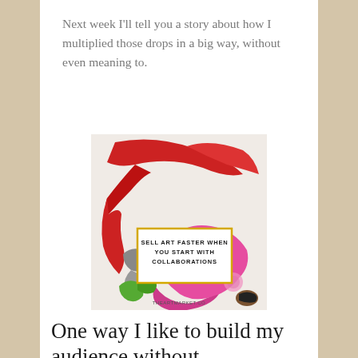Next week I'll tell you a story about how I multiplied those drops in a big way, without even meaning to.
[Figure (illustration): Abstract colorful painting with red, pink, green and gray brushstrokes on a light background. A white box with yellow border in the center reads 'SELL ART FASTER WHEN YOU START WITH COLLABORATIONS'. Bottom text reads 'THEARTMARKET.CO'.]
One way I like to build my audience without